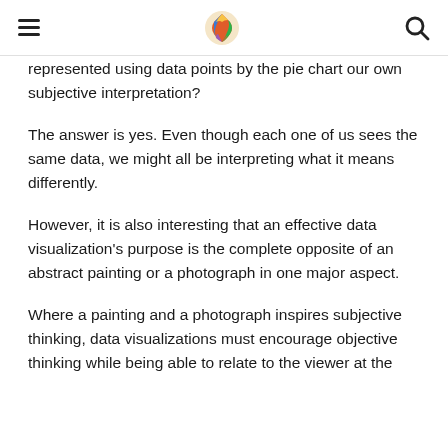≡ [logo] 🔍
represented using data points by the pie chart our own subjective interpretation?
The answer is yes. Even though each one of us sees the same data, we might all be interpreting what it means differently.
However, it is also interesting that an effective data visualization's purpose is the complete opposite of an abstract painting or a photograph in one major aspect.
Where a painting and a photograph inspires subjective thinking, data visualizations must encourage objective thinking while being able to relate to the viewer at the